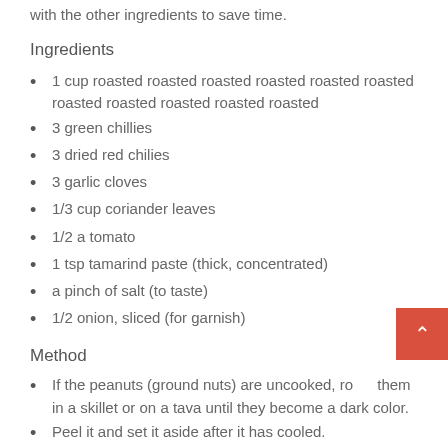with the other ingredients to save time.
Ingredients
1 cup roasted roasted roasted roasted roasted roasted roasted roasted roasted roasted roasted
3 green chillies
3 dried red chilies
3 garlic cloves
1/3 cup coriander leaves
1/2 a tomato
1 tsp tamarind paste (thick, concentrated)
a pinch of salt (to taste)
1/2 onion, sliced (for garnish)
Method
If the peanuts (ground nuts) are uncooked, roast them in a skillet or on a tava until they become a dark color.
Peel it and set it aside after it has cooled.